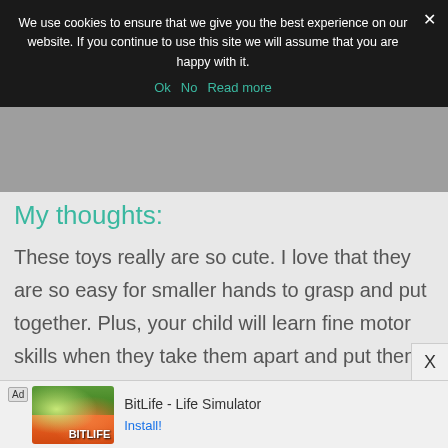We use cookies to ensure that we give you the best experience on our website. If you continue to use this site we will assume that you are happy with it.
Ok   No   Read more
My thoughts:
These toys really are so cute. I love that they are so easy for smaller hands to grasp and put together. Plus, your child will learn fine motor skills when they take them apart and put them back together again. And they can learn to match colors and the body types of each animal. As your child gets older, they can make up their own stories using the animals and you can have
[Figure (screenshot): Ad banner for BitLife - Life Simulator app with green and orange app icon imagery]